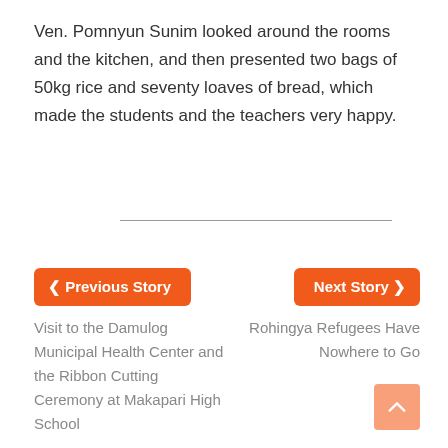Ven. Pomnyun Sunim looked around the rooms and the kitchen, and then presented two bags of 50kg rice and seventy loaves of bread, which made the students and the teachers very happy.
< Previous Story
Next Story >
Visit to the Damulog Municipal Health Center and the Ribbon Cutting Ceremony at Makapari High School
Rohingya Refugees Have Nowhere to Go